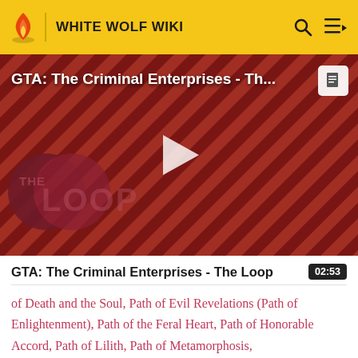WHITE WOLF WIKI
[Figure (screenshot): Video thumbnail for GTA: The Criminal Enterprises - The Loop, showing game characters on a red diagonal striped background with THE LOOP branding and a play button overlay]
GTA: The Criminal Enterprises - The Loop
02:53
of Death and the Soul, Path of Evil Revelations (Path of Enlightenment), Path of the Feral Heart, Path of Honorable Accord, Path of Lilith, Path of Metamorphosis,